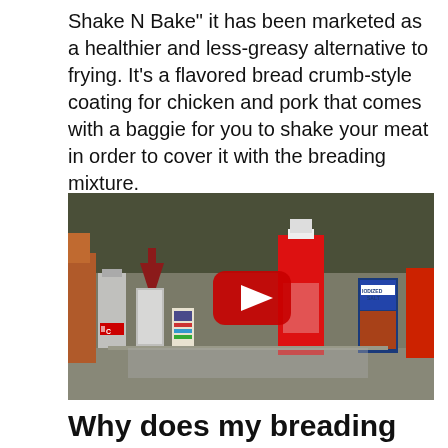Shake N Bake" it has been marketed as a healthier and less-greasy alternative to frying. It's a flavored bread crumb-style coating for chicken and pork that comes with a baggie for you to shake your meat in order to cover it with the breading mixture.
[Figure (screenshot): A YouTube video thumbnail showing various bottles and containers (Coca-Cola bottle, clear bottle with funnel, large red bottle, iodized salt container) arranged on a surface outdoors, with a red YouTube play button overlay in the center.]
Why does my breading fall off my pork chops?